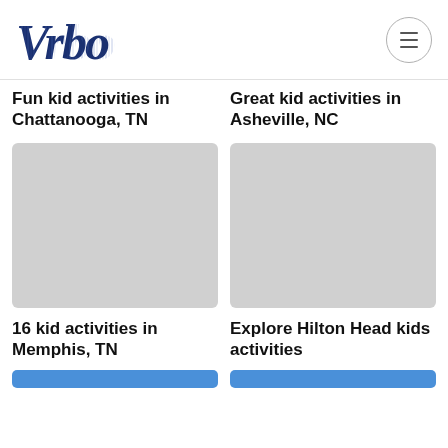Vrbo
Fun kid activities in Chattanooga, TN
Great kid activities in Asheville, NC
[Figure (photo): Placeholder grey image for Memphis TN card]
[Figure (photo): Placeholder grey image for Hilton Head card]
16 kid activities in Memphis, TN
Explore Hilton Head kids activities